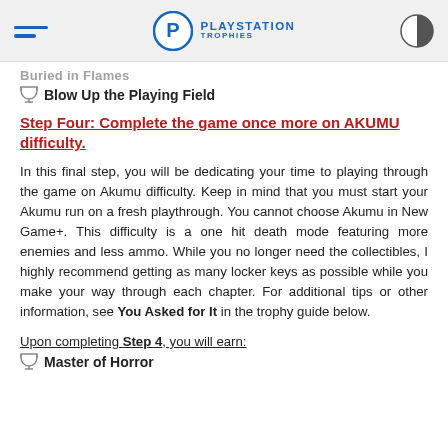PLAYSTATION TROPHIES
Buried in Flames
Blow Up the Playing Field
Step Four: Complete the game once more on AKUMU difficulty.
In this final step, you will be dedicating your time to playing through the game on Akumu difficulty. Keep in mind that you must start your Akumu run on a fresh playthrough. You cannot choose Akumu in New Game+. This difficulty is a one hit death mode featuring more enemies and less ammo. While you no longer need the collectibles, I highly recommend getting as many locker keys as possible while you make your way through each chapter. For additional tips or other information, see You Asked for It in the trophy guide below.
Upon completing Step 4, you will earn:
Master of Horror